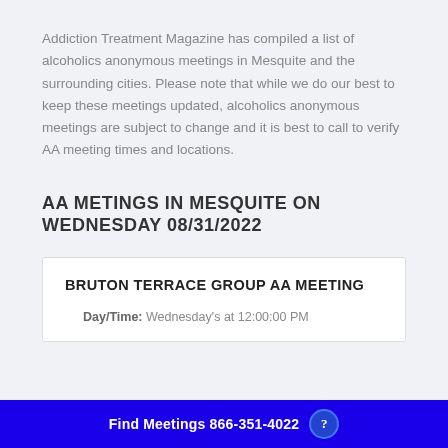Addiction Treatment Magazine has compiled a list of alcoholics anonymous meetings in Mesquite and the surrounding cities. Please note that while we do our best to keep these meetings updated, alcoholics anonymous meetings are subject to change and it is best to call to verify AA meeting times and locations.
AA METINGS IN MESQUITE ON WEDNESDAY 08/31/2022
BRUTON TERRACE GROUP AA MEETING
Day/Time: Wednesday's at 12:00:00 PM
Find Meetings 866-351-4022 ?